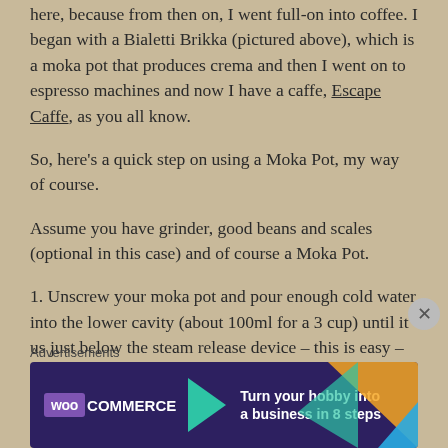here, because from then on, I went full-on into coffee. I began with a Bialetti Brikka (pictured above), which is a moka pot that produces crema and then I went on to espresso machines and now I have a caffe, Escape Caffe, as you all know.
So, here's a quick step on using a Moka Pot, my way of course.
Assume you have grinder, good beans and scales (optional in this case) and of course a Moka Pot.
1. Unscrew your moka pot and pour enough cold water into the lower cavity (about 100ml for a 3 cup) until it us just below the steam release device – this is easy – there's a hole for the outlet inside the bottom of the
Advertisements
[Figure (screenshot): WooCommerce advertisement banner with dark purple background showing WooCommerce logo and text 'Turn your hobby into a business in 8 steps' with colorful triangle decorations]